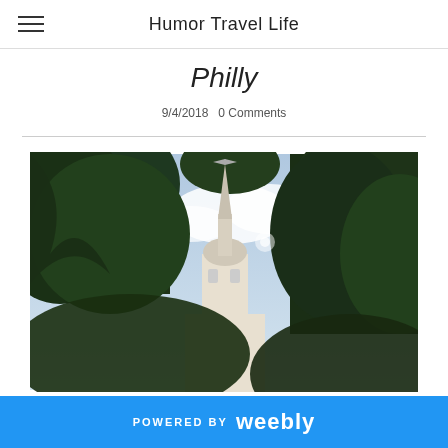Humor Travel Life
Philly
9/4/2018   0 Comments
[Figure (photo): Outdoor photo looking up through trees at a historic church steeple (likely Christ Church in Philadelphia) against a partly cloudy sky. Dense green tree foliage frames the top and sides, with the white/cream colored steeple visible in the center.]
POWERED BY weebly